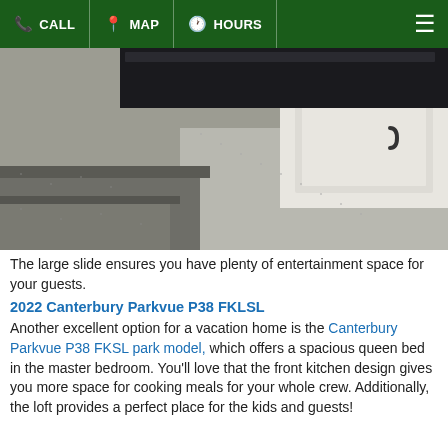CALL  MAP  HOURS
[Figure (photo): Interior photo of an RV/park model showing carpeted flooring steps and a booth-style dining area with dark cushioned seating and white cabinet storage with a handle.]
The large slide ensures you have plenty of entertainment space for your guests.
2022 Canterbury Parkvue P38 FKLSL
Another excellent option for a vacation home is the Canterbury Parkvue P38 FKSL park model, which offers a spacious queen bed in the master bedroom. You'll love that the front kitchen design gives you more space for cooking meals for your whole crew. Additionally, the loft provides a perfect place for the kids and guests!